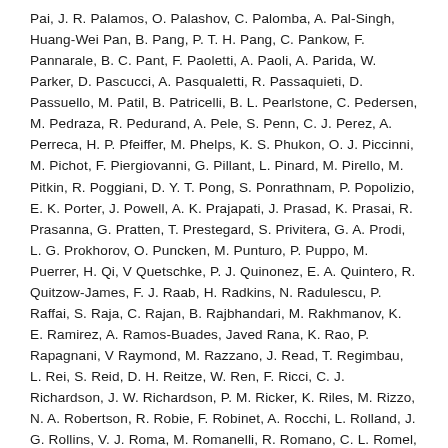Pai, J. R. Palamos, O. Palashov, C. Palomba, A. Pal-Singh, Huang-Wei Pan, B. Pang, P. T. H. Pang, C. Pankow, F. Pannarale, B. C. Pant, F. Paoletti, A. Paoli, A. Parida, W. Parker, D. Pascucci, A. Pasqualetti, R. Passaquieti, D. Passuello, M. Patil, B. Patricelli, B. L. Pearlstone, C. Pedersen, M. Pedraza, R. Pedurand, A. Pele, S. Penn, C. J. Perez, A. Perreca, H. P. Pfeiffer, M. Phelps, K. S. Phukon, O. J. Piccinni, M. Pichot, F. Piergiovanni, G. Pillant, L. Pinard, M. Pirello, M. Pitkin, R. Poggiani, D. Y. T. Pong, S. Ponrathnam, P. Popolizio, E. K. Porter, J. Powell, A. K. Prajapati, J. Prasad, K. Prasai, R. Prasanna, G. Pratten, T. Prestegard, S. Privitera, G. A. Prodi, L. G. Prokhorov, O. Puncken, M. Punturo, P. Puppo, M. Puerrer, H. Qi, V Quetschke, P. J. Quinonez, E. A. Quintero, R. Quitzow-James, F. J. Raab, H. Radkins, N. Radulescu, P. Raffai, S. Raja, C. Rajan, B. Rajbhandari, M. Rakhmanov, K. E. Ramirez, A. Ramos-Buades, Javed Rana, K. Rao, P. Rapagnani, V Raymond, M. Razzano, J. Read, T. Regimbau, L. Rei, S. Reid, D. H. Reitze, W. Ren, F. Ricci, C. J. Richardson, J. W. Richardson, P. M. Ricker, K. Riles, M. Rizzo, N. A. Robertson, R. Robie, F. Robinet, A. Rocchi, L. Rolland, J. G. Rollins, V. J. Roma, M. Romanelli, R. Romano, C. L. Romel, J. H. Romie, K. Rose, D. Rosinska, S. G. Rosofsky, M. P. Ross, S. Rowan, A. Ruediger, P. Ruggi, G. Rutins, K. Ryan, S. Sachdev, T. Sadecki, M. Sakellariadou, L. Salconi, M. Saleem, A. Samajdar, L. Sammut, E. J. Sanchez, L. E. Sanchez, N. Sanchis-Gual, V Sandberg, J. R. Sanders, K. A. Santiago, N. Sarin, B. Sassolas, P. R. Saulson, O. Sauter, R. L. Savage, P. Schale, M. Scheel, J. Scheuer, F. Schiettekatte, P.